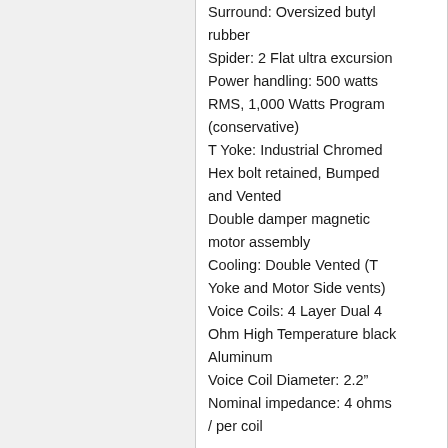Surround: Oversized butyl rubber
Spider: 2 Flat ultra excursion
Power handling: 500 watts RMS, 1,000 Watts Program (conservative)
T Yoke: Industrial Chromed Hex bolt retained, Bumped and Vented
Double damper magnetic motor assembly
Cooling: Double Vented (T Yoke and Motor Side vents)
Voice Coils: 4 Layer Dual 4 Ohm High Temperature black Aluminum
Voice Coil Diameter: 2.2"
Nominal impedance: 4 ohms / per coil